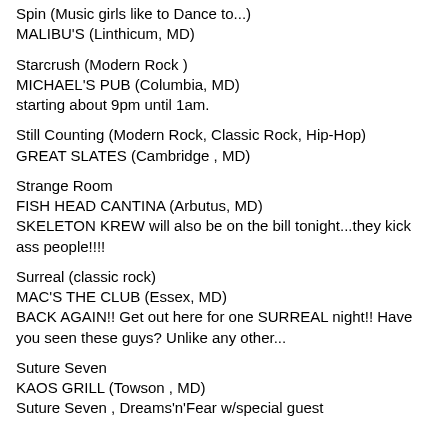Spin (Music girls like to Dance to...)
MALIBU'S (Linthicum, MD)
Starcrush (Modern Rock )
MICHAEL'S PUB (Columbia, MD)
starting about 9pm until 1am.
Still Counting (Modern Rock, Classic Rock, Hip-Hop)
GREAT SLATES (Cambridge , MD)
Strange Room
FISH HEAD CANTINA (Arbutus, MD)
SKELETON KREW will also be on the bill tonight...they kick ass people!!!!
Surreal (classic rock)
MAC'S THE CLUB (Essex, MD)
BACK AGAIN!! Get out here for one SURREAL night!! Have you seen these guys? Unlike any other...
Suture Seven
KAOS GRILL (Towson , MD)
Suture Seven , Dreams'n'Fear w/special guest